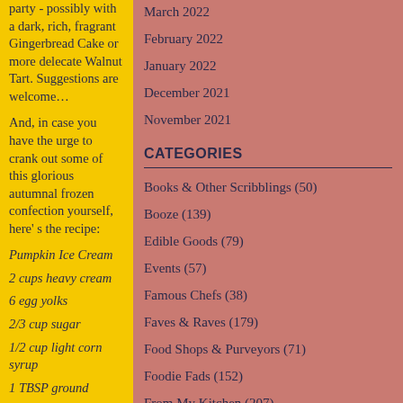party - possibly with a dark, rich, fragrant Gingerbread Cake or more delecate Walnut Tart. Suggestions are welcome…
And, in case you have the urge to crank out some of this glorious autumnal frozen confection yourself, here' s the recipe:
Pumpkin Ice Cream
2 cups heavy cream
6 egg yolks
2/3 cup sugar
1/2 cup light corn syrup
1 TBSP ground
March 2022
February 2022
January 2022
December 2021
November 2021
CATEGORIES
Books & Other Scribblings (50)
Booze (139)
Edible Goods (79)
Events (57)
Famous Chefs (38)
Faves & Raves (179)
Food Shops & Purveyors (71)
Foodie Fads (152)
From My Kitchen (207)